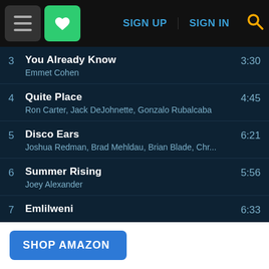SIGN UP  SIGN IN
3  You Already Know  3:30
Emmet Cohen
4  Quite Place  4:45
Ron Carter, Jack DeJohnette, Gonzalo Rubalcaba
5  Disco Ears  6:21
Joshua Redman, Brad Mehldau, Brian Blade, Chr...
6  Summer Rising  5:56
Joey Alexander
7  Emlilweni  6:33
[Figure (screenshot): SHOP AMAZON blue button with speech bubble pointer]
[Figure (photo): Three album cover thumbnails: George Van Eps, Jump (orange circle), Alden Van Eps]